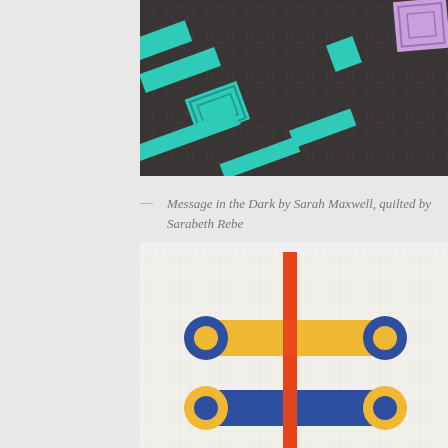[Figure (photo): Close-up of a dark gray quilted fabric with teal/turquoise geometric rectangular and square patches stitched with Greek key and linear patterns, and a lavender/purple geometric shape visible in upper right corner.]
— Message in the Dark by Sarah Maxwell, quilted by Sarabeth Rebe
[Figure (photo): Close-up of a white quilted fabric featuring bold geometric shapes: two horizontal rounded-rectangle bars in yellow/gold with blue/navy circular caps on each end, bisected vertically by a bright orange-red stripe. The design resembles a stylized equals sign or double domino.]